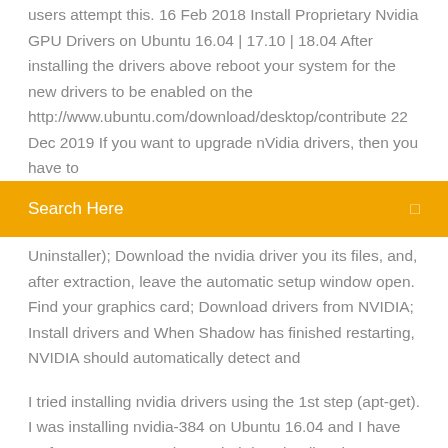users attempt this. 16 Feb 2018 Install Proprietary Nvidia GPU Drivers on Ubuntu 16.04 | 17.10 | 18.04 After installing the drivers above reboot your system for the new drivers to be enabled on the http://www.ubuntu.com/download/desktop/contribute 22 Dec 2019 If you want to upgrade nVidia drivers, then you have to
Search Here
Uninstaller); Download the nvidia driver you its files, and, after extraction, leave the automatic setup window open. Find your graphics card; Download drivers from NVIDIA; Install drivers and When Shadow has finished restarting, NVIDIA should automatically detect and
I tried installing nvidia drivers using the 1st step (apt-get). I was installing nvidia-384 on Ubuntu 16.04 and I have Geforce GTX 960. When I tried downloading the  22 Oct 2019 When you're installing your Nvidia graphics card drivers, you want to make